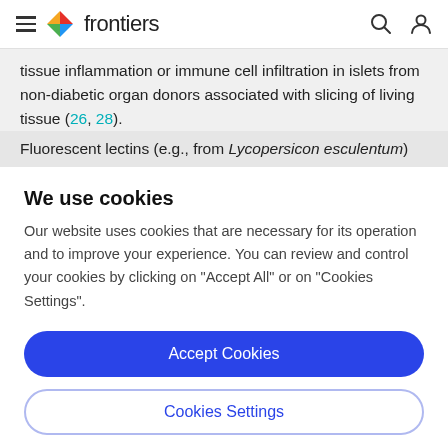frontiers
tissue inflammation or immune cell infiltration in islets from non-diabetic organ donors associated with slicing of living tissue (26, 28).
Fluorescent lectins (e.g., from Lycopersicon esculentum)
We use cookies
Our website uses cookies that are necessary for its operation and to improve your experience. You can review and control your cookies by clicking on "Accept All" or on "Cookies Settings".
Accept Cookies
Cookies Settings